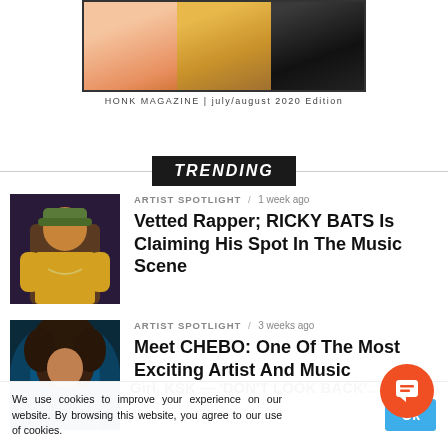[Figure (photo): Magazine cover showing three panels of artist photos side by side, bordered]
HONK MAGAZINE | july/august 2020 Edition
TRENDING
[Figure (photo): Photo of a rapper in yellow shirt and military hat performing]
ARTIST SPOTLIGHT / 1 week ago
Vetted Rapper; RICKY BATS Is Claiming His Spot In The Music Scene
[Figure (photo): Photo of an artist with big hair under blue lighting]
ARTIST SPOTLIGHT / 3 weeks ago
Meet CHEBO: One Of The Most Exciting Artist And Music
We use cookies to improve your experience on our website. By browsing this website, you agree to our use of cookies.